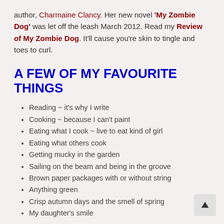author, Charmaine Clancy. Her new novel 'My Zombie Dog' was let off the leash March 2012. Read my Review of My Zombie Dog. It'll cause you're skin to tingle and toes to curl.
A FEW OF MY FAVOURITE THINGS
Reading ~ it's why I write
Cooking ~ because I can't paint
Eating what I cook ~ live to eat kind of girl
Eating what others cook
Getting mucky in the garden
Sailing on the beam and being in the groove
Brown paper packages with or without string
Anything green
Crisp autumn days and the smell of spring
My daughter's smile